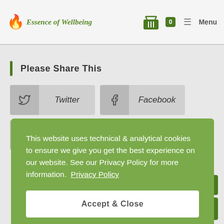Essence of Wellbeing — Menu | Cart: 0
Please Share This
Twitter
Facebook
Pinterest
LinkedIn
This website uses technical & analytical cookies to ensure we give you get the best experience on our website. See our Privacy Policy for more information. Privacy Policy
Accept & Close